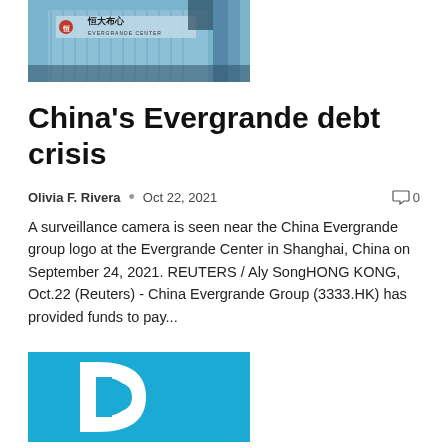[Figure (photo): Photograph of Evergrande Center building in Shanghai with Chinese signage and industrial pipes in the foreground]
China's Evergrande debt crisis
Olivia F. Rivera  •  Oct 22, 2021   💬 0
A surveillance camera is seen near the China Evergrande group logo at the Evergrande Center in Shanghai, China on September 24, 2021. REUTERS / Aly SongHONG KONG, Oct.22 (Reuters) - China Evergrande Group (3333.HK) has provided funds to pay...
[Figure (logo): Blue square logo with white letter D shape]